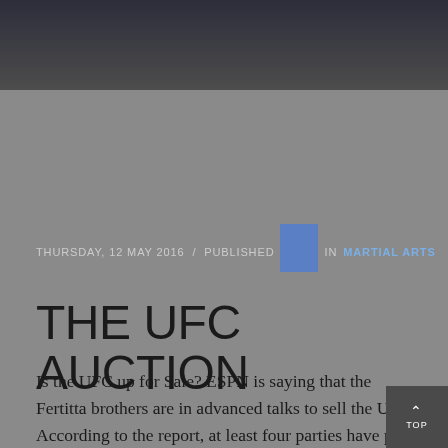[Figure (photo): Dark photo banner of people in sports/martial arts setting, darkened with overlay]
THURSDAY, 12 MAY 2016  /  PUBLISHED IN MARTIAL ARTS
THE UFC AUCTION
Is the UFC up for Sale? ESPN is saying that the Fertitta brothers are in advanced talks to sell the UFC. According to the report, at least four parties have put in bids: two Chinese groups –